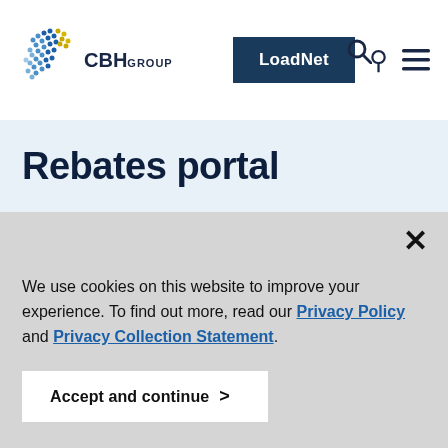CBH GROUP | LoadNet | Search | Menu
Rebates portal
We use cookies on this website to improve your experience. To find out more, read our Privacy Policy and Privacy Collection Statement.
Accept and continue